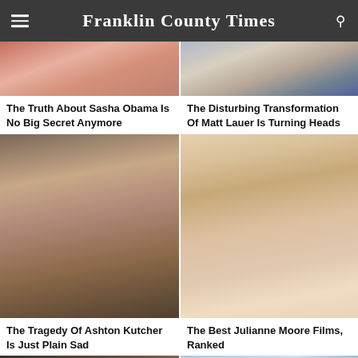Franklin County Times
[Figure (photo): Partial photo of a person, cropped at top]
[Figure (photo): Partial photo of a man in a suit, cropped at top]
The Truth About Sasha Obama Is No Big Secret Anymore
The Disturbing Transformation Of Matt Lauer Is Turning Heads
[Figure (photo): Close-up photo of Ashton Kutcher]
[Figure (photo): Close-up photo of Julianne Moore wearing glasses]
The Tragedy Of Ashton Kutcher Is Just Plain Sad
The Best Julianne Moore Films, Ranked
[Figure (photo): Partial photo of a person, cropped at bottom]
[Figure (photo): Partial photo of a building exterior, cropped at bottom]